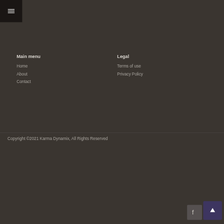[Figure (other): Hamburger menu icon (three horizontal white lines) on black square background, top-left corner]
Main menu
Legal
Home
About
Contact
Terms of use
Privacy Policy
Copyright ©2021 Karma Dynamix, All Rights Reserved
[Figure (other): Facebook icon button and scroll-to-top arrow button, bottom-right corner]